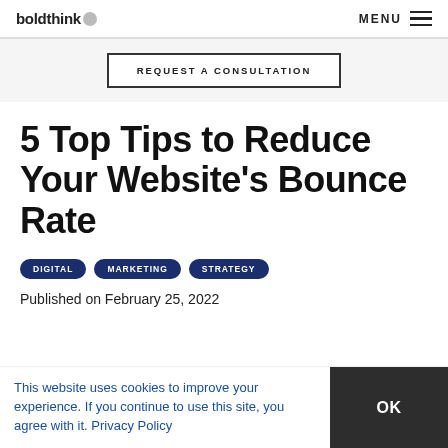boldthink [logo] | MENU
REQUEST A CONSULTATION
5 Top Tips to Reduce Your Website's Bounce Rate
DIGITAL
MARKETING
STRATEGY
Published on February 25, 2022
This website uses cookies to improve your experience. If you continue to use this site, you agree with it. Privacy Policy